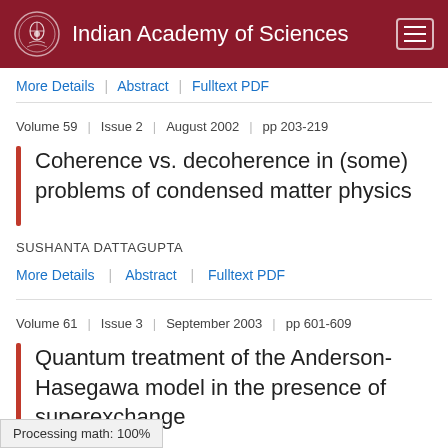Indian Academy of Sciences
More Details | Abstract | Fulltext PDF
Volume 59 | Issue 2 | August 2002 | pp 203-219
Coherence vs. decoherence in (some) problems of condensed matter physics
SUSHANTA DATTAGUPTA
More Details | Abstract | Fulltext PDF
Volume 61 | Issue 3 | September 2003 | pp 601-609
Quantum treatment of the Anderson-Hasegawa model in the presence of superexchange
Processing math: 100%